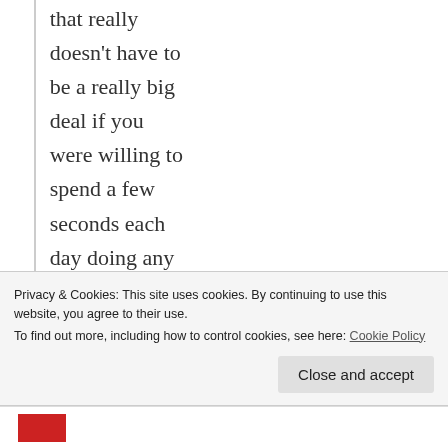that really doesn't have to be a really big deal if you were willing to spend a few seconds each day doing any of the suggestions above.
Which option
Privacy & Cookies: This site uses cookies. By continuing to use this website, you agree to their use.
To find out more, including how to control cookies, see here: Cookie Policy
Close and accept